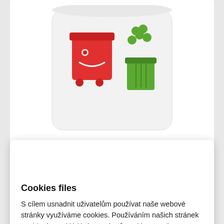[Figure (photo): Product image of a white bag with red smiling trash bin and green flower/plant decorative graphics printed on it]
Minerals granulated material to neutralize the garbage smell 10 l
[Figure (illustration): Cookie icon - outline drawing of a cookie with chocolate chips]
Cookies files
S cílem usnadnit uživatelům používat naše webové stránky využíváme cookies. Používáním našich stránek souhlasíte s ukládáním souborů cookie na vašem počítači / zařízení. Nastavení cookies můžete změnit v nastavení vašeho prohlížeče.